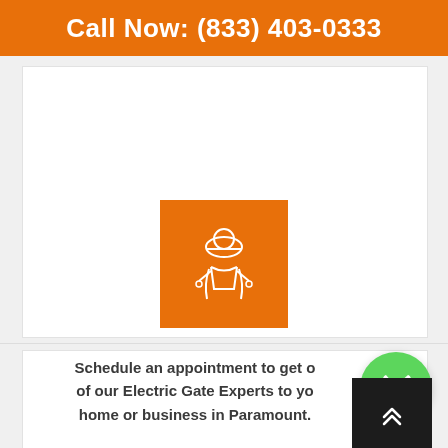Call Now: (833) 403-0333
[Figure (illustration): Orange square icon showing a worker/technician wearing a hard hat, depicted in a white line-art style on orange background]
[Figure (illustration): Green circular phone/call button with white handset icon]
[Figure (illustration): Dark scroll-to-top button with upward chevron arrows]
Schedule an appointment to get one of our Electric Gate Experts to your home or business in Paramount.